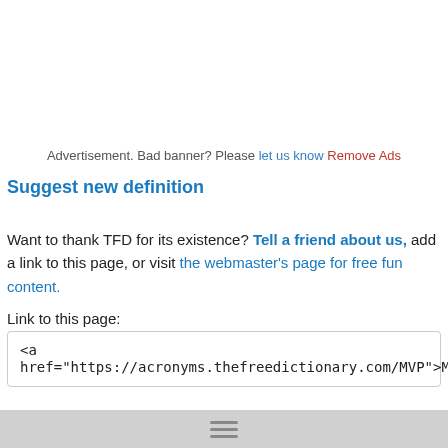Advertisement. Bad banner? Please let us know Remove Ads
Suggest new definition
Want to thank TFD for its existence? Tell a friend about us, add a link to this page, or visit the webmaster's page for free fun content.
Link to this page:
<a href="https://acronyms.thefreedictionary.com/MVP">MVP</a>